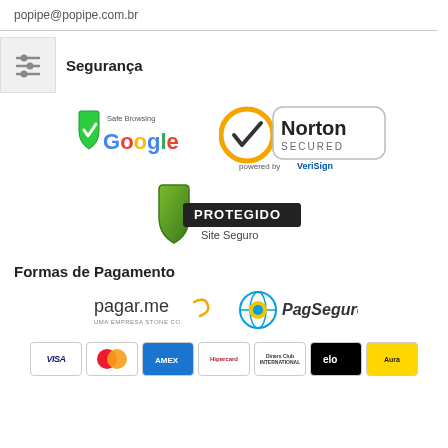popipe@popipe.com.br
Segurança
[Figure (logo): Google Safe Browsing logo with green shield and checkmark]
[Figure (logo): Norton Secured powered by VeriSign logo]
[Figure (logo): Protegido Site Seguro shield logo]
Formas de Pagamento
[Figure (logo): pagar.me UMA EMPRESA STONE CO. logo]
[Figure (logo): PagSeguro logo]
[Figure (logo): Payment card logos: VISA, MasterCard, American Express, Hipercard, Diners Club, elo, Aura]